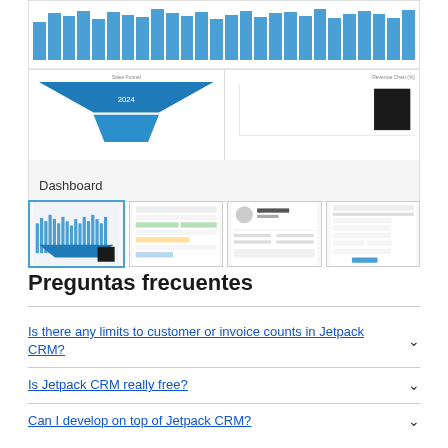[Figure (screenshot): Dashboard screenshot showing a bar chart at top with many blue bars, and two panels below: Sales Funnel (funnel diagram) and Revenue Chart]
Dashboard
[Figure (screenshot): Four thumbnail screenshots of the dashboard interface]
Preguntas frecuentes
Is there any limits to customer or invoice counts in Jetpack CRM?
Is Jetpack CRM really free?
Can I develop on top of Jetpack CRM?